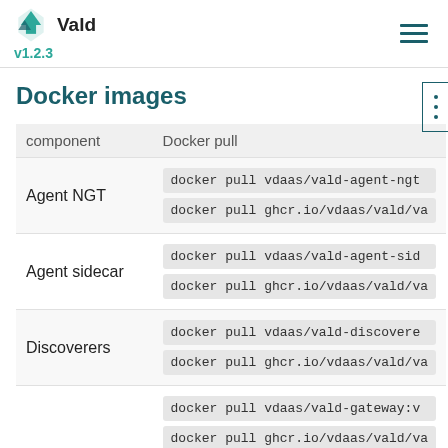Vald v1.2.3
Docker images
| component | Docker pull |
| --- | --- |
| Agent NGT | docker pull vdaas/vald-agent-ngt...
docker pull ghcr.io/vdaas/vald/va... |
| Agent sidecar | docker pull vdaas/vald-agent-sid...
docker pull ghcr.io/vdaas/vald/va... |
| Discoverers | docker pull vdaas/vald-discovere...
docker pull ghcr.io/vdaas/vald/va... |
| Gateways | docker pull vdaas/vald-gateway:v...
docker pull ghcr.io/vdaas/vald/va...
docker pull vdaas/vald-backup-g...
docker pull ghcr.io/vdaas/vald/va... |